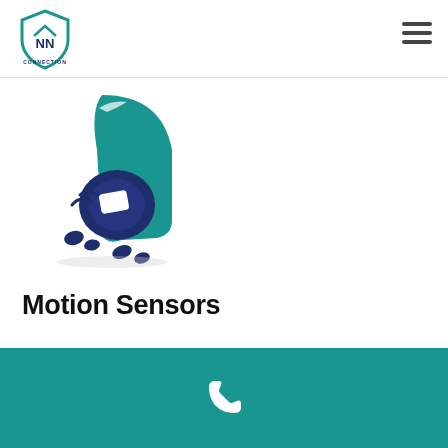[Figure (logo): NN Connection shield logo with teal border and dark blue NN initials, text CONNECTION below]
[Figure (illustration): Motion sensor illustration: teal curved wall-mounted security sensor with dark navy blue body and white lens, with dark footstep icons below indicating motion detection]
Motion Sensors
Notification text partially visible at bottom of content area
[Figure (other): White telephone handset icon on teal background footer bar]